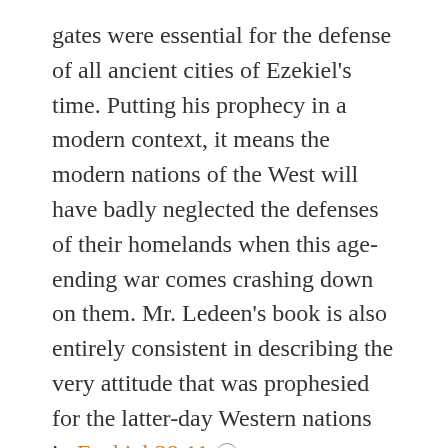gates were essential for the defense of all ancient cities of Ezekiel's time. Putting his prophecy in a modern context, it means the modern nations of the West will have badly neglected the defenses of their homelands when this age-ending war comes crashing down on them. Mr. Ledeen's book is also entirely consistent in describing the very attitude that was prophesied for the latter-day Western nations in Ezekiel 38:11.
It is very evident that Ezekiel 38 is one of the most important and revelatory prophecies in the entire Bible